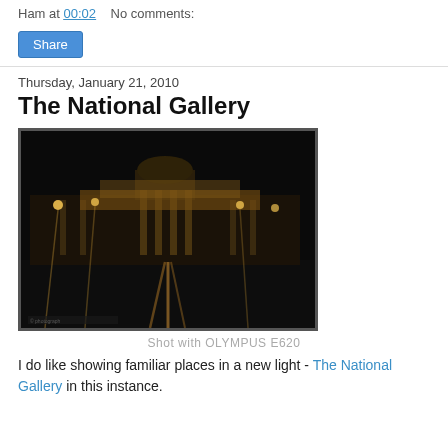Ham at 00:02   No comments:
Share
Thursday, January 21, 2010
The National Gallery
[Figure (photo): Night photograph of The National Gallery building illuminated with warm golden lights, with wet pavement reflecting the lights in the foreground. Dark sky background. Shot with OLYMPUS E620.]
Shot with OLYMPUS E620
I do like showing familiar places in a new light - The National Gallery in this instance.